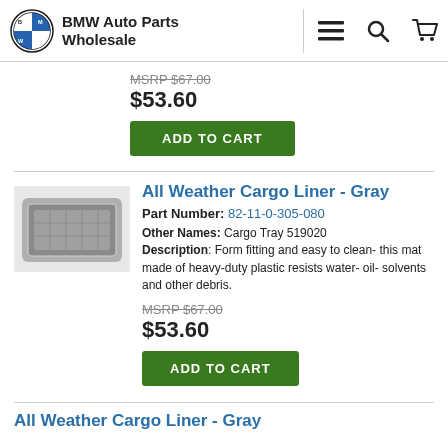BMW Auto Parts Wholesale
MSRP $67.00
$53.60
ADD TO CART
[Figure (photo): BMW All Weather Cargo Liner Gray product photo showing gray plastic cargo tray]
All Weather Cargo Liner - Gray
Part Number: 82-11-0-305-080
Other Names: Cargo Tray 519020
Description: Form fitting and easy to clean- this mat made of heavy-duty plastic resists water- oil- solvents and other debris.
MSRP $67.00
$53.60
ADD TO CART
All Weather Cargo Liner - Gray